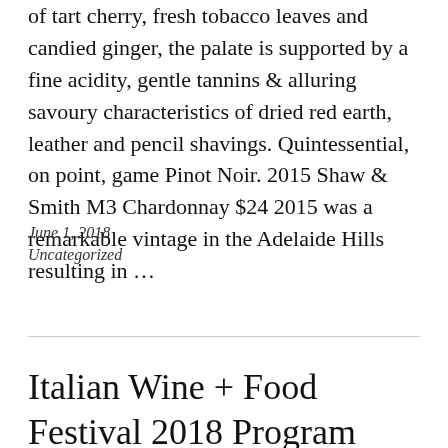of tart cherry, fresh tobacco leaves and candied ginger, the palate is supported by a fine acidity, gentle tannins & alluring savoury characteristics of dried red earth, leather and pencil shavings. Quintessential, on point, game Pinot Noir. 2015 Shaw & Smith M3 Chardonnay $24 2015 was a remarkable vintage in the Adelaide Hills resulting in ...
June 1, 2018
Uncategorized
Italian Wine + Food Festival 2018 Program